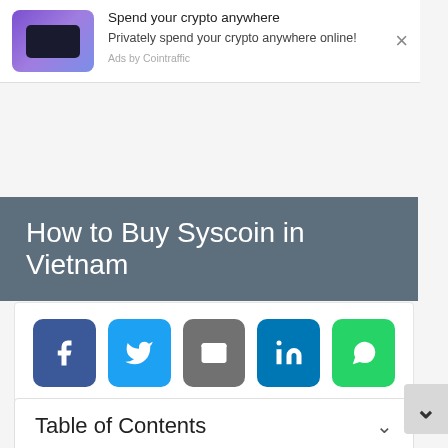[Figure (screenshot): Ad popup: Spend your crypto anywhere - Privately spend your crypto anywhere online! Ads by Cointraffic]
How to Buy Syscoin in Vietnam
[Figure (infographic): Social share buttons: Facebook, Twitter, Email, LinkedIn, WhatsApp]
Table of Contents
ADVERTISEMENT
Popular Searches for
1  Business Intelligence Analytics
2  Employee Engagement Platform Top
Yahoo! Search | Sponsored